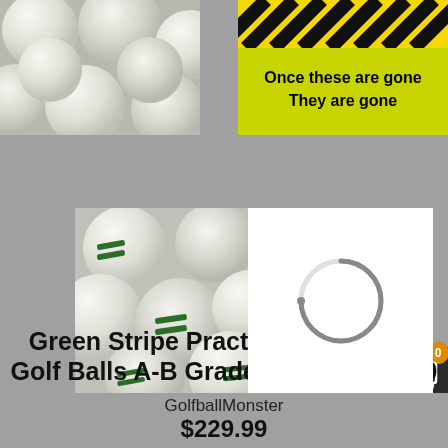[Figure (photo): Close-up photo of white golf balls at top left]
[Figure (infographic): Yellow hazard stripe banner with text 'Once these are gone They are gone']
[Figure (photo): Photo of green stripe practice logo used golf balls in middle left]
[Figure (infographic): Loading spinner circle overlay in center]
[Figure (infographic): Free Shipping badge with red circle, owl mascot, and shopping cart icon]
Green Stripe Practice Logo Used Golf Balls A-B Grade One Lot of 600
GolfballMonster
$229.99